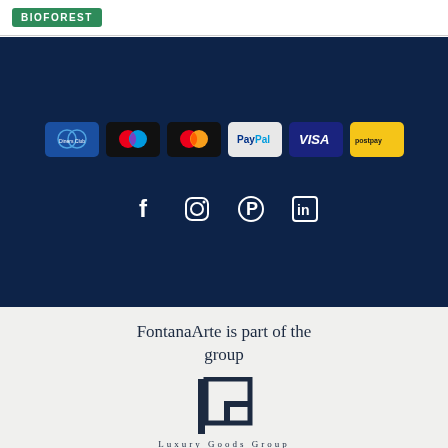[Figure (logo): BIOFOREST green logo/badge in top-left header]
[Figure (infographic): Dark navy section with payment method icons: Diners Club, Mastercard (dark), Mastercard, PayPal, VISA, PostPay; and social media icons: Facebook, Instagram, Pinterest, LinkedIn]
FontanaArte is part of the group
[Figure (logo): LCG (Luxury Goods Group) logo mark — vertical bar with G-square symbol, and partial text below]